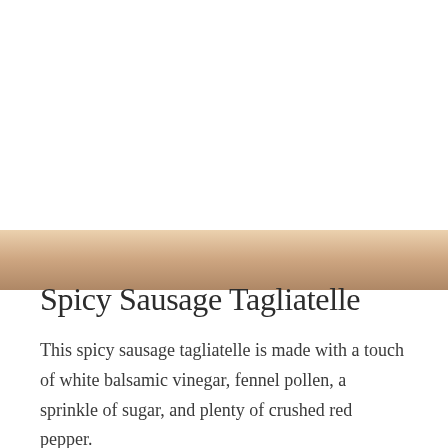[Figure (photo): Photo of spicy sausage tagliatelle dish, partially visible at the bottom of the page]
Spicy Sausage Tagliatelle
This spicy sausage tagliatelle is made with a touch of white balsamic vinegar, fennel pollen, a sprinkle of sugar, and plenty of crushed red pepper.